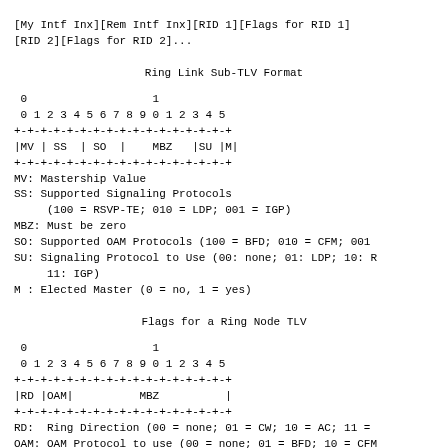[My Intf Inx][Rem Intf Inx][RID 1][Flags for RID 1]
[RID 2][Flags for RID 2]...
Ring Link Sub-TLV Format
[Figure (schematic): Bit field diagram showing 16-bit Ring Link Sub-TLV flags format with fields: MV, SS, SO, MBZ, SU, M across bit positions 0-15]
MV: Mastership Value
SS: Supported Signaling Protocols
     (100 = RSVP-TE; 010 = LDP; 001 = IGP)
MBZ: Must be zero
SO: Supported OAM Protocols (100 = BFD; 010 = CFM; 001
SU: Signaling Protocol to Use (00: none; 01: LDP; 10: R
    11: IGP)
M : Elected Master (0 = no, 1 = yes)
Flags for a Ring Node TLV
[Figure (schematic): Bit field diagram showing 16-bit Ring Node TLV flags format with fields: RD, OAM, MBZ across bit positions 0-15]
RD:  Ring Direction (00 = none; 01 = CW; 10 = AC; 11 =
OAM: OAM Protocol to use (00 = none; 01 = BFD; 10 = CFM
MBZ: Must be zero